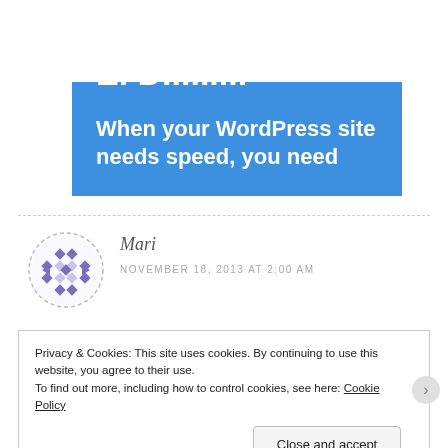Advertisements
[Figure (screenshot): Blue advertisement banner reading 'When your WordPress site needs speed, you need' with partial text cut off at bottom]
Mari
NOVEMBER 18, 2013 AT 2:00 AM
Privacy & Cookies: This site uses cookies. By continuing to use this website, you agree to their use.
To find out more, including how to control cookies, see here: Cookie Policy
Close and accept